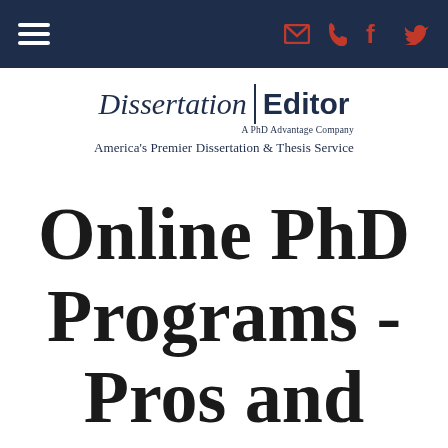Navigation bar with hamburger menu and social/contact icons
[Figure (logo): Dissertation Editor logo — italic 'Dissertation' and bold 'Editor' separated by a vertical bar, with 'A PhD Advantage Company' subtitle and tagline 'America's Premier Dissertation & Thesis Service']
Online PhD Programs - Pros and Cons